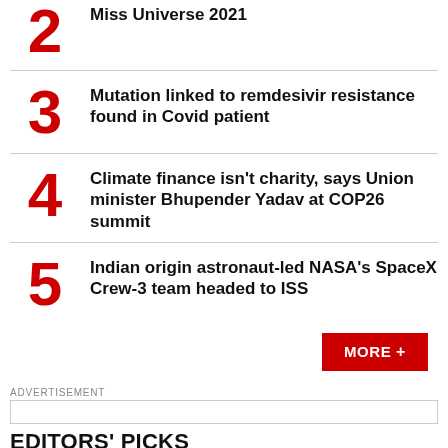2 Miss Universe 2021
3 Mutation linked to remdesivir resistance found in Covid patient
4 Climate finance isn't charity, says Union minister Bhupender Yadav at COP26 summit
5 Indian origin astronaut-led NASA's SpaceX Crew-3 team headed to ISS
MORE +
ADVERTISEMENT
EDITORS' PICKS
Parsa Venkateshwar Rao Jr | Ambiguities remain amid India's